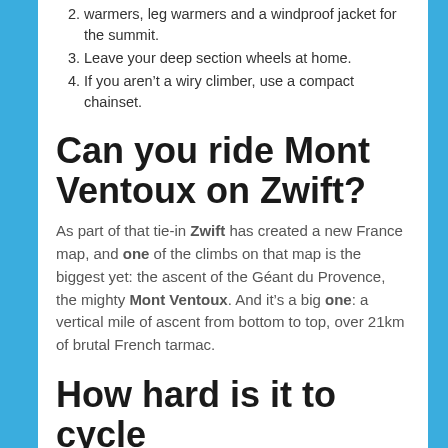warmers, leg warmers and a windproof jacket for the summit.
Leave your deep section wheels at home.
If you aren't a wiry climber, use a compact chainset.
Can you ride Mont Ventoux on Zwift?
As part of that tie-in Zwift has created a new France map, and one of the climbs on that map is the biggest yet: the ascent of the Géant du Provence, the mighty Mont Ventoux. And it's a big one: a vertical mile of ascent from bottom to top, over 21km of brutal French tarmac.
How hard is it to cycle